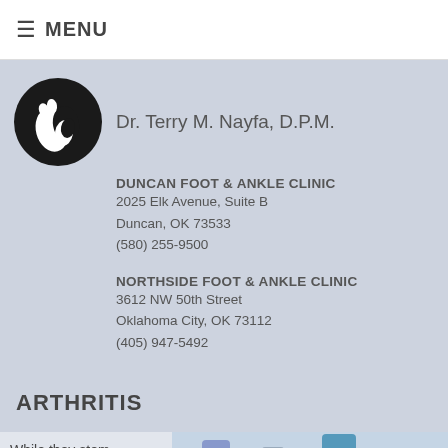≡ MENU
[Figure (logo): Circular black logo with a white foot/ankle silhouette for Dr. Terry M. Nayfa foot clinic]
Dr. Terry M. Nayfa, D.P.M.
DUNCAN FOOT & ANKLE CLINIC
2025 Elk Avenue, Suite B
Duncan, OK 73533
(580) 255-9500
NORTHSIDE FOOT & ANKLE CLINIC
3612 NW 50th Street
Oklahoma City, OK 73112
(405) 947-5492
ARTHRITIS
While they stem from different
[Figure (photo): Photo of two people wearing light blue/purple shorts, likely walking or running outdoors]